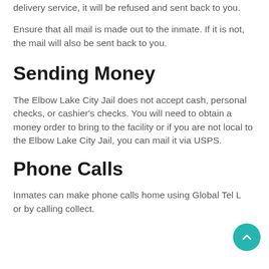All mail must be sent using USPS. If you use any other mail delivery service, it will be refused and sent back to you.
Ensure that all mail is made out to the inmate. If it is not, the mail will also be sent back to you.
Sending Money
The Elbow Lake City Jail does not accept cash, personal checks, or cashier's checks. You will need to obtain a money order to bring to the facility or if you are not local to the Elbow Lake City Jail, you can mail it via USPS.
Phone Calls
Inmates can make phone calls home using Global Tel Link or by calling collect.